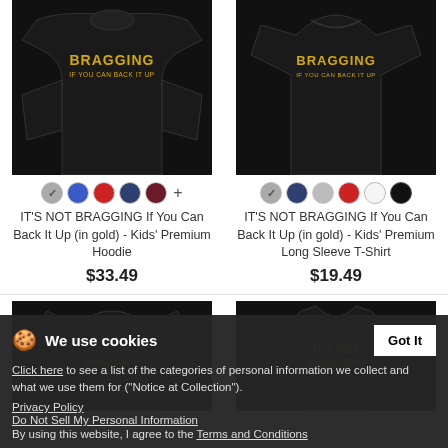[Figure (photo): Black kids hoodie with yellow text 'BRAGGING IF YOU CAN BACK IT UP']
[Figure (photo): Black kids long sleeve T-shirt with yellow text 'BRAGGING IF YOU CAN BACK IT UP']
IT'S NOT BRAGGING If You Can Back It Up (in gold) - Kids' Premium Hoodie
$33.49
IT'S NOT BRAGGING If You Can Back It Up (in gold) - Kids' Premium Long Sleeve T-Shirt
$19.49
[Figure (photo): Black women's t-shirt with gold text 'IT'S NOT BRAGGING']
[Figure (photo): Black sleeveless tank top with gold text 'IT'S NOT BRAGGING']
We use cookies
Click here to see a list of the categories of personal information we collect and what we use them for ("Notice at Collection").
Privacy Policy
Do Not Sell My Personal Information
By using this website, I agree to the Terms and Conditions